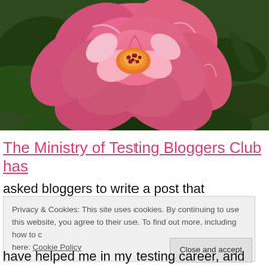[Figure (photo): Close-up photograph of a large pink rose bloom with orange-yellow center, surrounded by dark green leaves.]
The Ministry of Testing Bloggers Club has
asked bloggers to write a post that
Privacy & Cookies: This site uses cookies. By continuing to use this website, you agree to their use. To find out more, including how to c here: Cookie Policy
have helped me in my testing career, and